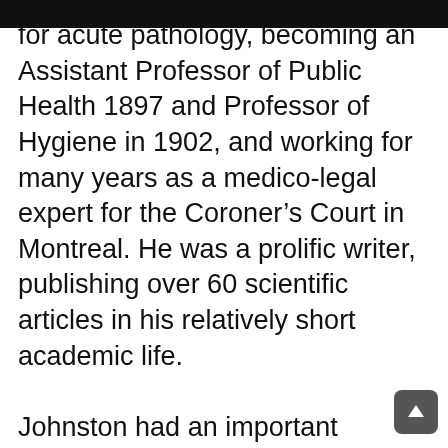for acute pathology, becoming an Assistant Professor of Public Health 1897 and Professor of Hygiene in 1902, and working for many years as a medico-legal expert for the Coroner's Court in Montreal. He was a prolific writer, publishing over 60 scientific articles in his relatively short academic life.

Johnston had an important influence on the development of the McGill Medical Museum. In addition to providing many specimens for teaching, he suggested a system for their classification which